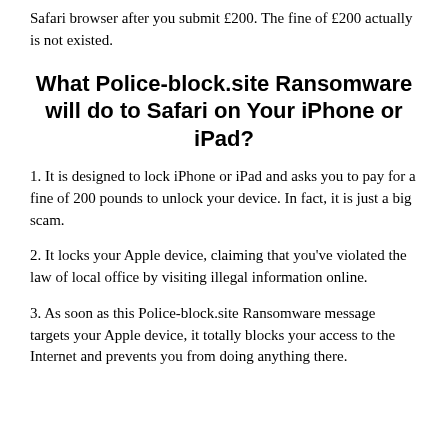Safari browser after you submit £200. The fine of £200 actually is not existed.
What Police-block.site Ransomware will do to Safari on Your iPhone or iPad?
1. It is designed to lock iPhone or iPad and asks you to pay for a fine of 200 pounds to unlock your device. In fact, it is just a big scam.
2. It locks your Apple device, claiming that you've violated the law of local office by visiting illegal information online.
3. As soon as this Police-block.site Ransomware message targets your Apple device, it totally blocks your access to the Internet and prevents you from doing anything there.